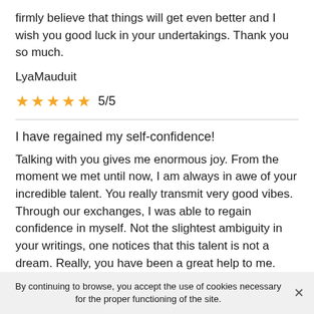firmly believe that things will get even better and I wish you good luck in your undertakings. Thank you so much.
LyaMauduit
[Figure (other): Five gold stars rating with text 5/5]
I have regained my self-confidence!
Talking with you gives me enormous joy. From the moment we met until now, I am always in awe of your incredible talent. You really transmit very good vibes. Through our exchanges, I was able to regain confidence in myself. Not the slightest ambiguity in your writings, one notices that this talent is not a dream. Really, you have been a great help to me.
By continuing to browse, you accept the use of cookies necessary for the proper functioning of the site.